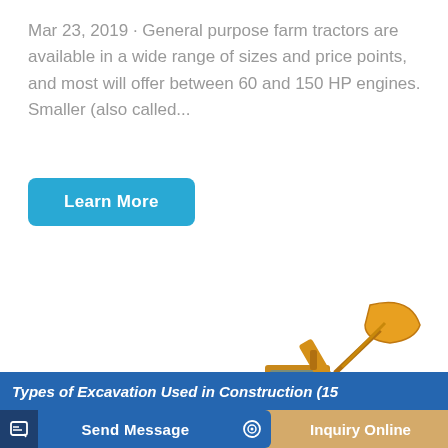Mar 23, 2019 · General purpose farm tractors are available in a wide range of sizes and price points, and most will offer between 60 and 150 HP engines. Smaller (also called...
Learn More
[Figure (photo): Yellow wheel loader / front-end loader construction machine on white background, with raised bucket arm.]
Send Message
Inquiry Online
Types of Excavation Used in Construction (15